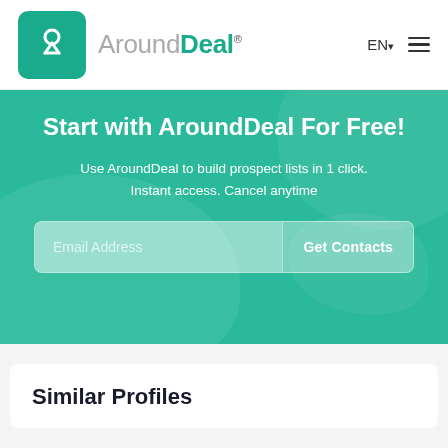AroundDeal® EN ☰
Start with AroundDeal For Free!
Use AroundDeal to build prospect lists in 1 click.
Instant access. Cancel anytime
Email Address   Get Contacts
Similar Profiles